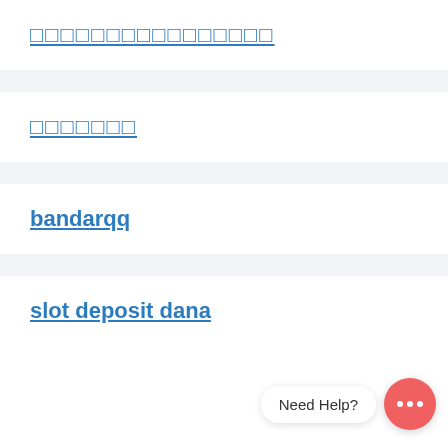□□□□□□□□□□□□□□□□ (Thai/Unicode link text, row 1)
□□□□□□□ (Thai/Unicode link text, row 2)
bandarqq
slot deposit dana
[Figure (other): Chat widget with 'Need Help?' speech bubble and red circular chat icon with ellipsis]